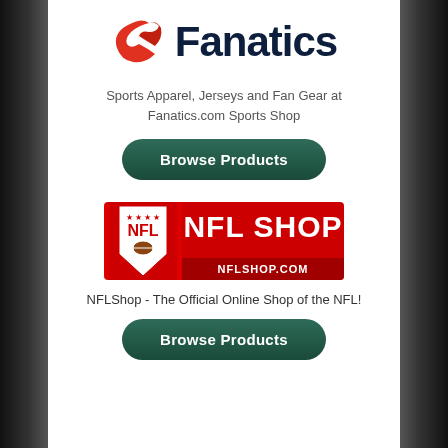[Figure (logo): Fanatics logo with red swoosh/checkmark icon and dark navy bold text 'Fanatics']
Sports Apparel, Jerseys and Fan Gear at Fanatics.com Sports Shop
[Figure (other): Dark green rounded button labeled 'Browse Products']
[Figure (logo): NFL Shop logo: red shield with NFL text on left, red background with 'NFL SHOP' in white and 'NFLSHOP.COM' bar below]
NFLShop - The Official Online Shop of the NFL!
[Figure (other): Dark green rounded button labeled 'Browse Products']